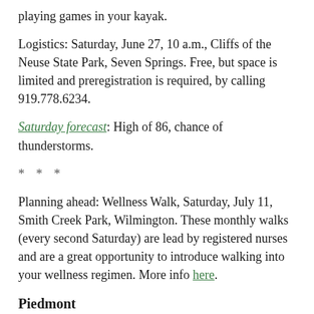playing games in your kayak.
Logistics: Saturday, June 27, 10 a.m., Cliffs of the Neuse State Park, Seven Springs. Free, but space is limited and preregistration is required, by calling 919.778.6234.
Saturday forecast: High of 86, chance of thunderstorms.
* * *
Planning ahead: Wellness Walk, Saturday, July 11, Smith Creek Park, Wilmington. These monthly walks (every second Saturday) are lead by registered nurses and are a great opportunity to introduce walking into your wellness regimen. More info here.
Piedmont
Here's a trip that would make any adventure lover jump the